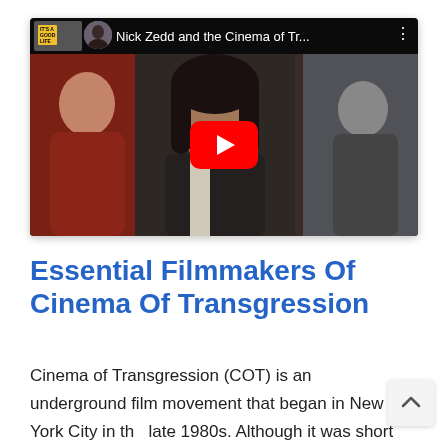[Figure (screenshot): Embedded YouTube video thumbnail showing 'Nick Zedd and the Cinema of Tr...' with a red play button overlay, a person's face visible in the center, and a red-jacketed figure on the left. Video bar shows channel thumbnail and title at top.]
Essential Filmmakers Of Cinema Of Transgression
Cinema of Transgression (COT) is an underground film movement that began in New York City in the late 1980s. Although it was short lived, this